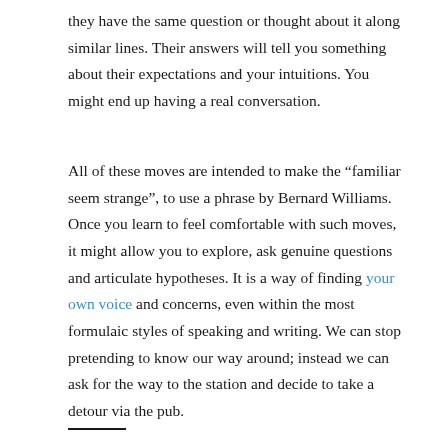they have the same question or thought about it along similar lines. Their answers will tell you something about their expectations and your intuitions. You might end up having a real conversation.
All of these moves are intended to make the “familiar seem strange”, to use a phrase by Bernard Williams. Once you learn to feel comfortable with such moves, it might allow you to explore, ask genuine questions and articulate hypotheses. It is a way of finding your own voice and concerns, even within the most formulaic styles of speaking and writing. We can stop pretending to know our way around; instead we can ask for the way to the station and decide to take a detour via the pub.